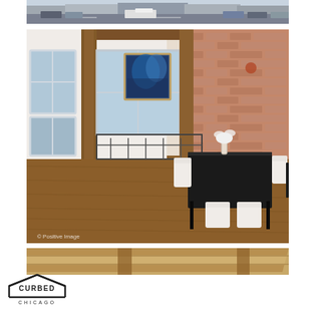[Figure (photo): Aerial/street view of a Chicago city intersection with parked cars, vans, and urban storefronts]
[Figure (photo): Interior of a loft-style apartment showing exposed brick walls, hardwood floors, wooden beam columns, a dining table with white chairs, a blue painting on the wall, and an industrial metal staircase railing. Watermark reads '© Positive Image']
[Figure (photo): Close-up of wooden ceiling beams/planks in warm tones]
[Figure (logo): Curbed Chicago logo — house-shaped outline with CURBED text inside and CHICAGO text below]